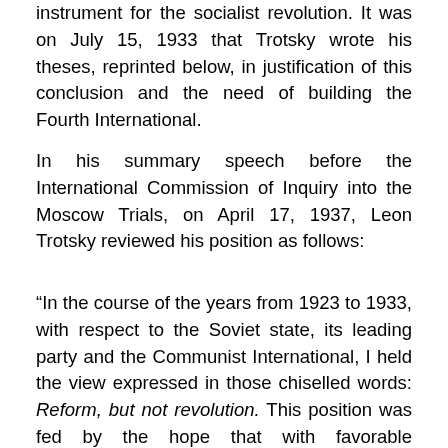instrument for the socialist revolution. It was on July 15, 1933 that Trotsky wrote his theses, reprinted below, in justification of this conclusion and the need of building the Fourth International.
In his summary speech before the International Commission of Inquiry into the Moscow Trials, on April 17, 1937, Leon Trotsky reviewed his position as follows:
“In the course of the years from 1923 to 1933, with respect to the Soviet state, its leading party and the Communist International, I held the view expressed in those chiselled words: Reform, but not revolution. This position was fed by the hope that with favorable developments in Europe, th…